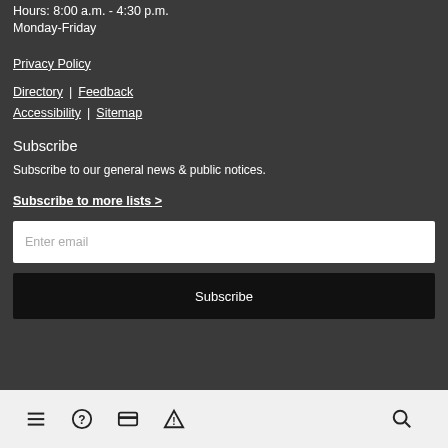Hours: 8:00 a.m. - 4:30 p.m.
Monday-Friday
Privacy Policy
Directory   Feedback
Accessibility   Sitemap
Subscribe
Subscribe to our general news & public notices.
Subscribe to more lists >
Enter email
Subscribe
≡  ?  ▬  ⚠  🔍